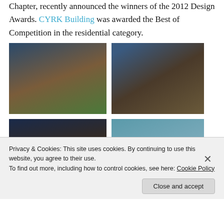Chapter, recently announced the winners of the 2012 Design Awards. CYRK Building was awarded the Best of Competition in the residential category.
[Figure (photo): Exterior view of a modern multi-story building with wood and glass facade, dusk/evening lighting]
[Figure (photo): Exterior view of a dark modern building with wood cladding and geometric form, daytime]
[Figure (photo): Exterior view of a modern building with wood siding at dusk with trees and sky]
[Figure (photo): Close-up of a glass railing with a wood handrail and metal hardware]
Privacy & Cookies: This site uses cookies. By continuing to use this website, you agree to their use. To find out more, including how to control cookies, see here: Cookie Policy